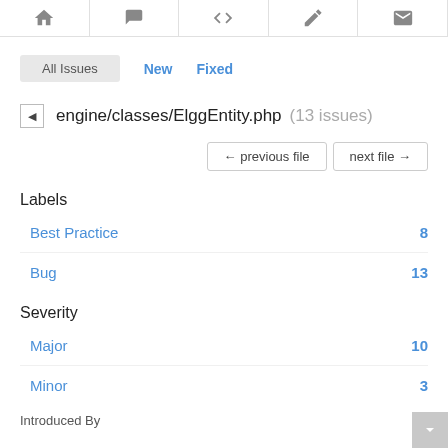Navigation icons row
All Issues   New   Fixed
engine/classes/ElggEntity.php (13 issues)
← previous file   next file →
Labels
Best Practice  8
Bug  13
Severity
Major  10
Minor  3
Introduced By